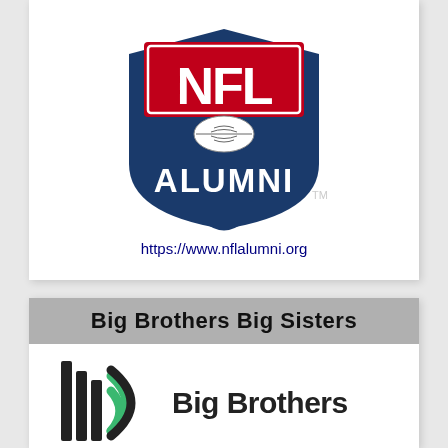[Figure (logo): NFL Alumni logo — blue shield shape with red NFL letters, football graphic, and white ALUMNI text, with TM mark]
https://www.nflalumni.org
Big Brothers Big Sisters
[Figure (logo): Big Brothers Big Sisters logo — three vertical black bars with green curved signal arcs, followed by 'Big Brothers' text in dark gray]